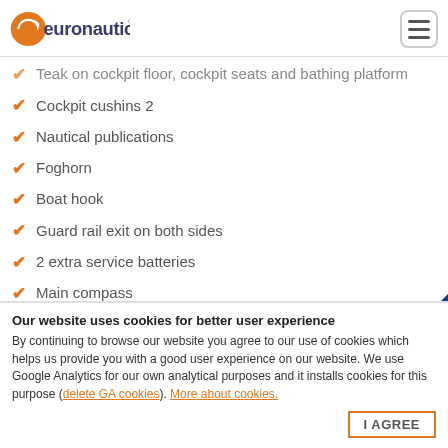euronautic
Teak on cockpit floor, cockpit seats and bathing platform
Cockpit cushins 2
Nautical publications
Foghorn
Boat hook
Guard rail exit on both sides
2 extra service batteries
Main compass
Bathing platform
Lewmar "Delta" anchor + 50m chain
Our website uses cookies for better user experience By continuing to browse our website you agree to our use of cookies which helps us provide you with a good user experience on our website. We use Google Analytics for our own analytical purposes and it installs cookies for this purpose (delete GA cookies). More about cookies.